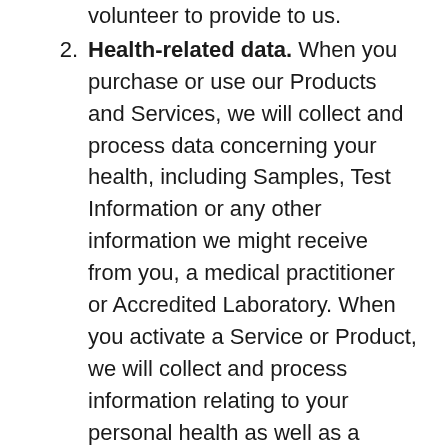volunteer to provide to us.
Health-related data. When you purchase or use our Products and Services, we will collect and process data concerning your health, including Samples, Test Information or any other information we might receive from you, a medical practitioner or Accredited Laboratory. When you activate a Service or Product, we will collect and process information relating to your personal health as well as a suitability questionnaire to confirm that the Service or Product is appropriate to your needs. You may also provide information to us if you connect a wearable device to one of our Products